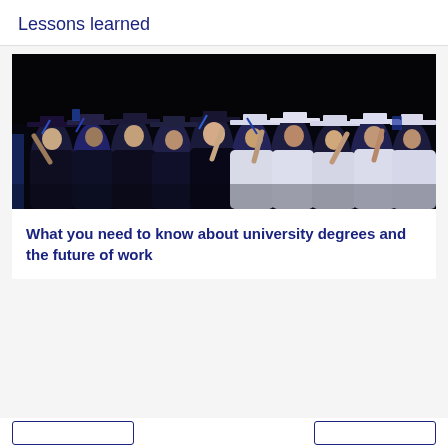Lessons learned
[Figure (photo): A crowd of graduating students in caps and gowns, both dark and white/light colored gowns, adjusting their mortarboard caps, photographed against a dark background during a graduation ceremony.]
What you need to know about university degrees and the future of work